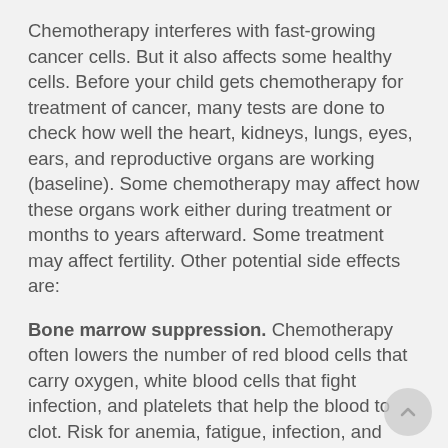Chemotherapy interferes with fast-growing cancer cells. But it also affects some healthy cells. Before your child gets chemotherapy for treatment of cancer, many tests are done to check how well the heart, kidneys, lungs, eyes, ears, and reproductive organs are working (baseline). Some chemotherapy may affect how these organs work either during treatment or months to years afterward. Some treatment may affect fertility. Other potential side effects are:
Bone marrow suppression. Chemotherapy often lowers the number of red blood cells that carry oxygen, white blood cells that fight infection, and platelets that help the blood to clot. Risk for anemia, fatigue, infection, and bleeding are increased with bone marrow suppression.
Mouth sores, skin changes, nausea, vomiting, and diarrhea. Chemotherapy affects the fast-growing cells of